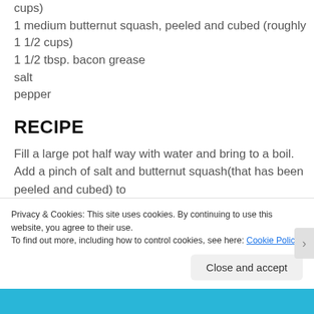cups)
1 medium butternut squash, peeled and cubed (roughly 1 1/2 cups)
1 1/2 tbsp. bacon grease
salt
pepper
RECIPE
Fill a large pot half way with water and bring to a boil.
Add a pinch of salt and butternut squash(that has been peeled and cubed) to
Privacy & Cookies: This site uses cookies. By continuing to use this website, you agree to their use.
To find out more, including how to control cookies, see here: Cookie Policy